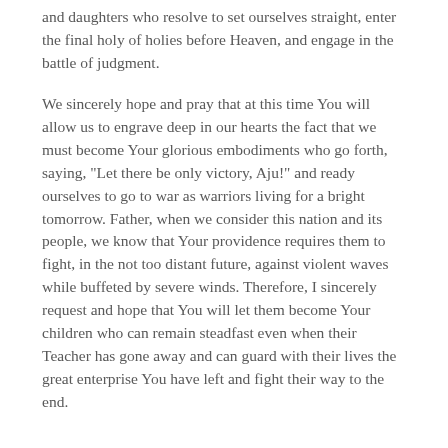and daughters who resolve to set ourselves straight, enter the final holy of holies before Heaven, and engage in the battle of judgment.
We sincerely hope and pray that at this time You will allow us to engrave deep in our hearts the fact that we must become Your glorious embodiments who go forth, saying, "Let there be only victory, Aju!" and ready ourselves to go to war as warriors living for a bright tomorrow. Father, when we consider this nation and its people, we know that Your providence requires them to fight, in the not too distant future, against violent waves while buffeted by severe winds. Therefore, I sincerely request and hope that You will let them become Your children who can remain steadfast even when their Teacher has gone away and can guard with their lives the great enterprise You have left and fight their way to the end.